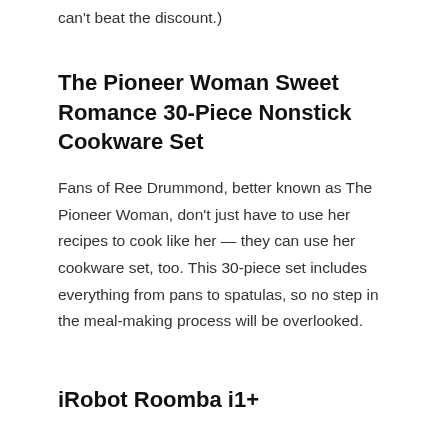can't beat the discount.)
The Pioneer Woman Sweet Romance 30-Piece Nonstick Cookware Set
Fans of Ree Drummond, better known as The Pioneer Woman, don't just have to use her recipes to cook like her — they can use her cookware set, too. This 30-piece set includes everything from pans to spatulas, so no step in the meal-making process will be overlooked.
iRobot Roomba i1+